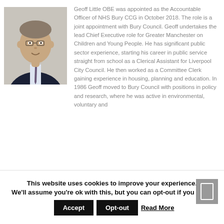[Figure (photo): Portrait photo of Geoff Little OBE, a middle-aged man in a dark suit and tie, smiling]
Geoff Little OBE was appointed as the Accountable Officer of NHS Bury CCG in October 2018. The role is a joint appointment with Bury Council. Geoff undertakes the lead Chief Executive role for Greater Manchester on Children and Young People. He has significant public sector experience, starting his career in public service straight from school as a Clerical Assistant for Liverpool City Council. He then worked as a Committee Clerk gaining experience in housing, planning and education. In 1986 Geoff moved to Bury Council with positions in policy and research, where he was active in environmental, voluntary and
This website uses cookies to improve your experience. We'll assume you're ok with this, but you can opt-out if you wish.